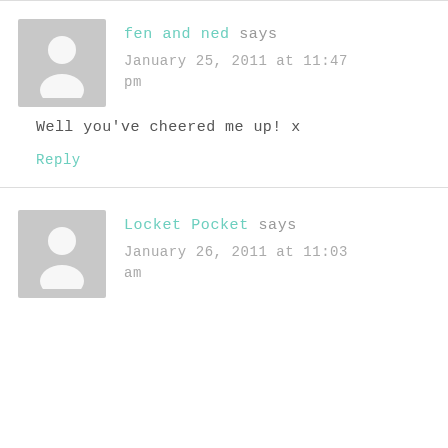fen and ned says
January 25, 2011 at 11:47 pm
Well you've cheered me up! x
Reply
Locket Pocket says
January 26, 2011 at 11:03 am